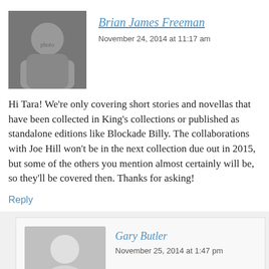[Figure (photo): Avatar photo of Brian James Freeman, a man in a cap]
Brian James Freeman
November 24, 2014 at 11:17 am
Hi Tara! We're only covering short stories and novellas that have been collected in King's collections or published as standalone editions like Blockade Billy. The collaborations with Joe Hill won't be in the next collection due out in 2015, but some of the others you mention almost certainly will be, so they'll be covered then. Thanks for asking!
Reply
[Figure (illustration): Generic gray avatar silhouette for Gary Butler]
Gary Butler
November 25, 2014 at 1:47 pm
Wasn't My pretty pony published as a standalone? it is not included. Also I think for sure Riding the Bullet and the